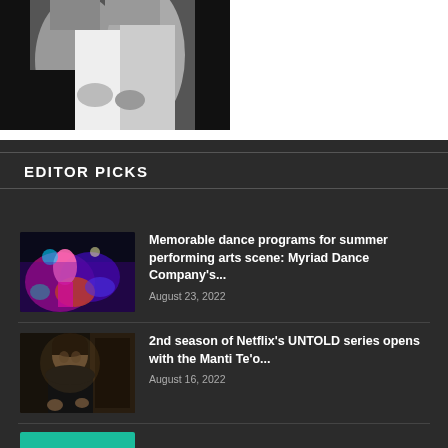[Figure (photo): Black and white photo of two people embracing, cropped at top of page]
EDITOR PICKS
[Figure (photo): Colorful dance performance image with vibrant lighting, thumbnail for article]
Memorable dance programs for summer performing arts scene: Myriad Dance Company's...
August 23, 2022
[Figure (photo): Portrait of a man in dark setting, thumbnail for Netflix article]
2nd season of Netflix's UNTOLD series opens with the Manti Te'o...
August 16, 2022
[Figure (photo): Teal/green colored thumbnail partially visible at bottom]